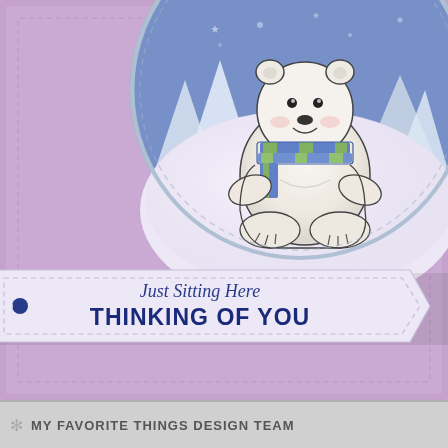[Figure (photo): Close-up photo of a handmade greeting card with a lavender/purple background featuring a circular scene with a cartoon polar bear wearing a blue and green striped scarf, sitting on glittery snow with a blue sky and stars in the background. A banner across the lower portion reads 'Just Sitting Here THINKING OF YOU' in dark blue text on a pale lavender banner with a dark blue circle accent and thin thread detail.]
✻ MY FAVORITE THINGS DESIGN TEAM